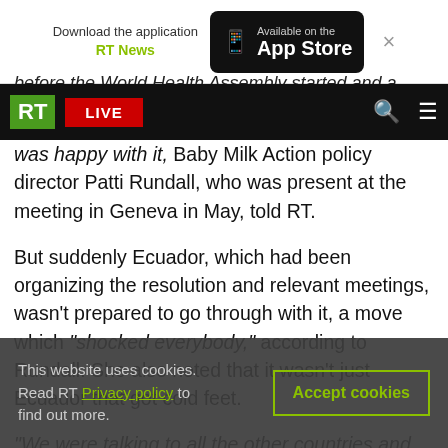[Figure (screenshot): App Store download banner with RT News text and Available on the App Store button]
[Figure (screenshot): RT navigation bar with green RT logo, red LIVE button, search and menu icons on black background]
before the World Health Assembly started and a
was happy with it, Baby Milk Action policy director Patti Rundall, who was present at the meeting in Geneva in May, told RT.
But suddenly Ecuador, which had been organizing the resolution and relevant meetings, wasn't prepared to go through with it, a move which "shocked everybody," according to Rundall. She also noted that it wasn't just Ecuador that got cold feet.
"We were talking to all the other countries and
This website uses cookies. Read RT Privacy policy to find out more.
Accept cookies